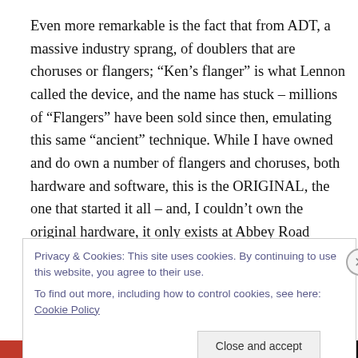Even more remarkable is the fact that from ADT, a massive industry sprang, of doublers that are choruses or flangers; “Ken’s flanger” is what Lennon called the device, and the name has stuck – millions of “Flangers” have been sold since then, emulating this same “ancient” technique. While I have owned and do own a number of flangers and choruses, both hardware and software, this is the ORIGINAL, the one that started it all – and, I couldn’t own the original hardware, it only exists at Abbey Road Studios
Privacy & Cookies: This site uses cookies. By continuing to use this website, you agree to their use.
To find out more, including how to control cookies, see here: Cookie Policy
Close and accept